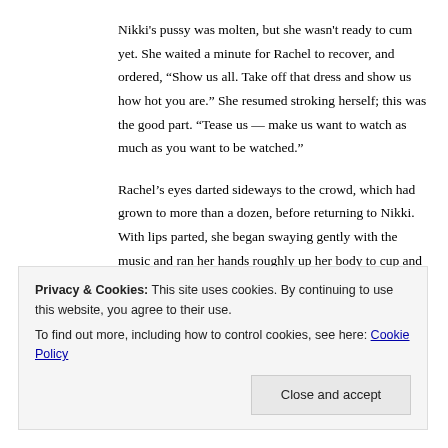Nikki's pussy was molten, but she wasn't ready to cum yet. She waited a minute for Rachel to recover, and ordered, “Show us all. Take off that dress and show us how hot you are.” She resumed stroking herself; this was the good part. “Tease us — make us want to watch as much as you want to be watched.”
Rachel’s eyes darted sideways to the crowd, which had grown to more than a dozen, before returning to Nikki. With lips parted, she began swaying gently with the music and ran her hands roughly up her body to cup and squeeze her breasts. From there they rose again, to tease first one and then the other tiny strand
Privacy & Cookies: This site uses cookies. By continuing to use this website, you agree to their use.
To find out more, including how to control cookies, see here: Cookie Policy